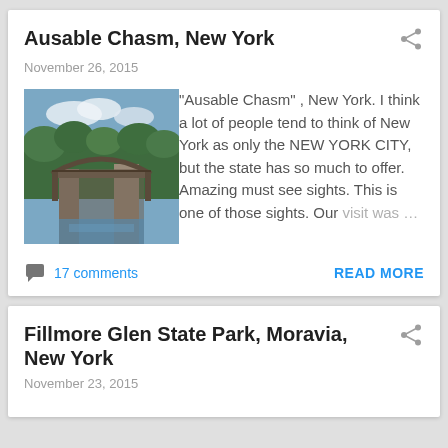Ausable Chasm, New York
November 26, 2015
[Figure (photo): Photo of Ausable Chasm, New York showing a stone arch bridge over a rocky gorge with trees]
"Ausable Chasm" , New York. I think a lot of people tend to think of New York as only the NEW YORK CITY, but the state has so much to offer. Amazing must see sights. This is one of those sights. Our visit was ...
17 comments
READ MORE
Fillmore Glen State Park, Moravia, New York
November 23, 2015